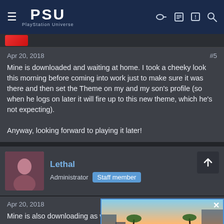PSU – PlayStation Universe
Apr 20, 2018  #5
Mine is downloaded and waiting at home. I took a cheeky look this morning before coming into work just to make sure it was there and then set the Theme on my and my son's profile (so when he logs on later it will fire up to this new theme, which he's not expecting).

Anyway, looking forward to playing it later!
Lethal
Administrator  Staff member
Apr 20, 2018  #6
Mine is also downloading as we speak.
[Figure (photo): Advertisement overlay showing a sports car (McLaren) with text: SLIGHTLY MAD STUDIOS WILL BE DELISTING PROJECT CARS 1 & 2]
Vyse
Extreme Poster